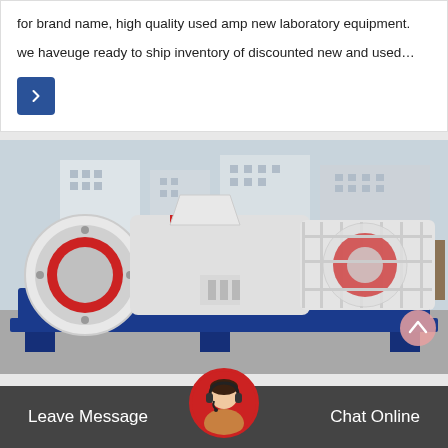for brand name, high quality used amp new laboratory equipment.
we haveuge ready to ship inventory of discounted new and used…
[Figure (other): Dark blue square button with white right-arrow icon]
[Figure (photo): Large industrial roller press machine with white body, red trim, and blue base/frame, photographed outdoors at a factory.]
Leave Message
[Figure (photo): Circular avatar photo of a woman wearing a headset, used as a chat support icon]
Chat Online